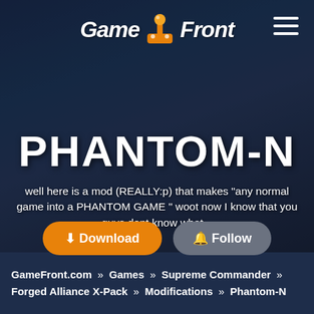[Figure (screenshot): GameFront website hero banner showing a dark sci-fi armored figure in blue tones as background]
PHANTOM-N
well here is a mod (REALLY:p) that makes "any normal game into a PHANTOM GAME " woot now I know that you guys dont know what...
GameFront.com » Games » Supreme Commander » Forged Alliance X-Pack » Modifications » Phantom-N